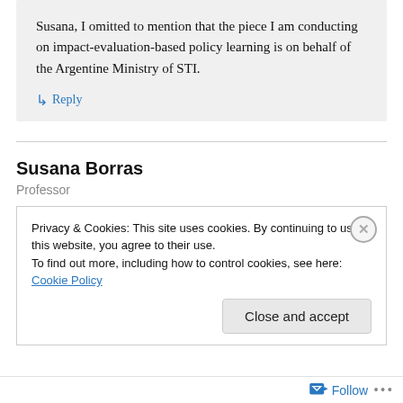Susana, I omitted to mention that the piece I am conducting on impact-evaluation-based policy learning is on behalf of the Argentine Ministry of STI.
↳ Reply
Susana Borras
Professor
Privacy & Cookies: This site uses cookies. By continuing to use this website, you agree to their use.
To find out more, including how to control cookies, see here: Cookie Policy
Close and accept
Follow ...